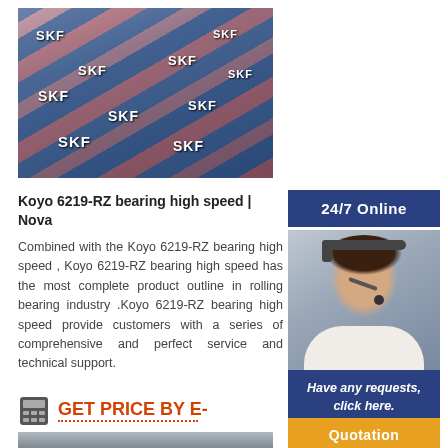[Figure (photo): Stacked SKF bearing boxes in red/blue packaging on warehouse shelving]
Koyo 6219-RZ bearing high speed | Nova
Combined with the Koyo 6219-RZ bearing high speed , Koyo 6219-RZ bearing high speed has the most complete product outline in rolling bearing industry .Koyo 6219-RZ bearing high speed provide customers with a series of comprehensive and perfect service and technical support.
GET PRICE BY E-
[Figure (photo): 24/7 Online customer service agent with headset, smiling]
Have any requests, click here.
Quotation
[Figure (photo): Partial bottom image of bearing product]